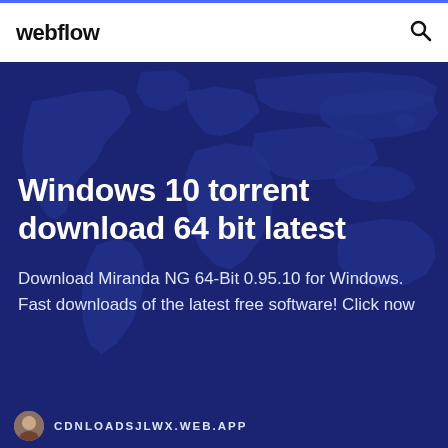webflow
[Figure (illustration): World map silhouette on dark blue background used as hero section backdrop]
Windows 10 torrent download 64 bit latest
Download Miranda NG 64-Bit 0.95.10 for Windows. Fast downloads of the latest free software! Click now
CDNLOADSJLWX.WEB.APP